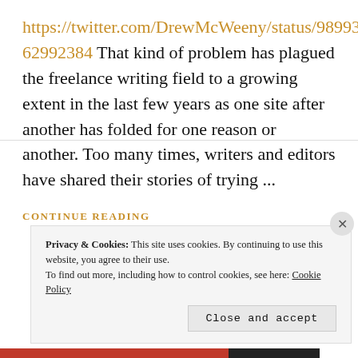https://twitter.com/DrewMcWeeny/status/989937832062992384 That kind of problem has plagued the freelance writing field to a growing extent in the last few years as one site after another has folded for one reason or another. Too many times, writers and editors have shared their stories of trying ...
CONTINUE READING
Privacy & Cookies: This site uses cookies. By continuing to use this website, you agree to their use.
To find out more, including how to control cookies, see here: Cookie Policy
Close and accept